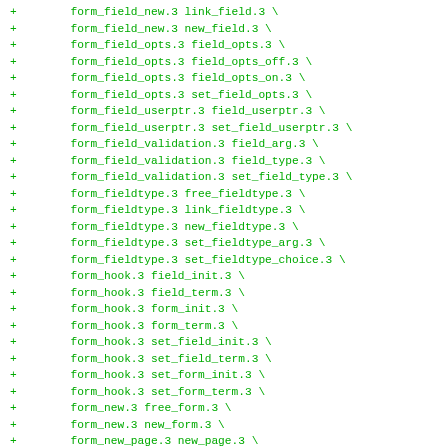+ form_field_new.3 link_field.3 \
+ form_field_new.3 new_field.3 \
+ form_field_opts.3 field_opts.3 \
+ form_field_opts.3 field_opts_off.3 \
+ form_field_opts.3 field_opts_on.3 \
+ form_field_opts.3 set_field_opts.3 \
+ form_field_userptr.3 field_userptr.3 \
+ form_field_userptr.3 set_field_userptr.3 \
+ form_field_validation.3 field_arg.3 \
+ form_field_validation.3 field_type.3 \
+ form_field_validation.3 set_field_type.3 \
+ form_fieldtype.3 free_fieldtype.3 \
+ form_fieldtype.3 link_fieldtype.3 \
+ form_fieldtype.3 new_fieldtype.3 \
+ form_fieldtype.3 set_fieldtype_arg.3 \
+ form_fieldtype.3 set_fieldtype_choice.3 \
+ form_hook.3 field_init.3 \
+ form_hook.3 field_term.3 \
+ form_hook.3 form_init.3 \
+ form_hook.3 form_term.3 \
+ form_hook.3 set_field_init.3 \
+ form_hook.3 set_field_term.3 \
+ form_hook.3 set_form_init.3 \
+ form_hook.3 set_form_term.3 \
+ form_new.3 free_form.3 \
+ form_new.3 new_form.3 \
+ form_new_page.3 new_page.3 \
+ form_new_page.3 set_new_page.3 \
+ form_opts.3 form_opts_off.3 \
+ form_opts.3 form_opts_on.3 \
+ form_opts.3 set_form_opts.3 \